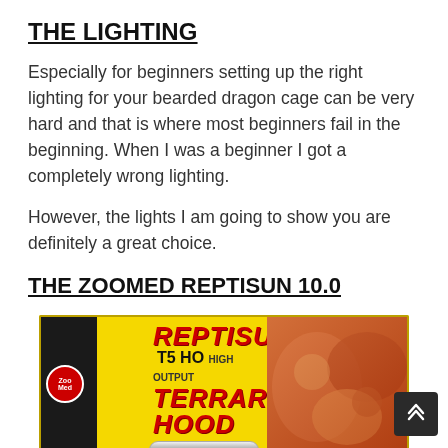THE LIGHTING
Especially for beginners setting up the right lighting for your bearded dragon cage can be very hard and that is where most beginners fail in the beginning. When I was a beginner I got a completely wrong lighting.
However, the lights I am going to show you are definitely a great choice.
THE ZOOMED REPTISUN 10.0
[Figure (photo): Product photo of a Zoo Med ReptiSun T5 HO Terrarium Hood light fixture box, yellow packaging with red text on the left and a photo of reptiles on the right.]
The Zoo Med ReptiSun 10.0 is the best of th